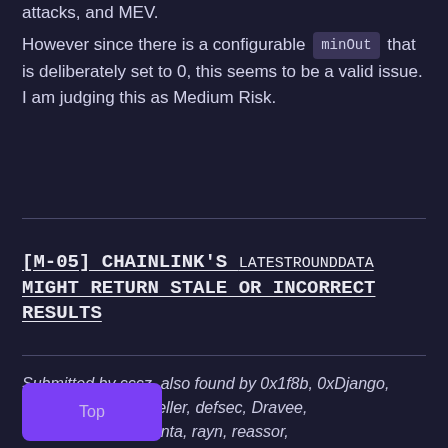attacks, and MEV.
However since there is a configurable minOut that is deliberately set to 0, this seems to be a valid issue. I am judging this as Medium Risk.
[M-05] CHAINLINK'S LATESTROUNDDATA MIGHT RETURN STALE OR INCORRECT RESULTS
Submitted by cccz, also found by 0x1f8b, 0xDjango, berndartmueller, defsec, Dravee, hyh, lllllll, kenta, rayn, reassor, sorrynotsorry, and WatchPug.